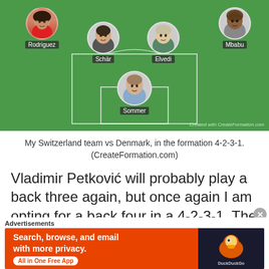[Figure (infographic): Football formation diagram on green pitch showing Switzerland 4-2-3-1 lineup. Defenders: Rodriguez (left), Schär, Elvedi, Mbabu (right). Goalkeeper: Sommer. Watermark: Created with CreateFormation.com]
My Switzerland team vs Denmark, in the formation 4-2-3-1. (CreateFormation.com)
Vladimir Petković will probably play a back three again, but once again I am opting for a back four in a 4-2-3-1. The majority of the recent goals Switzerland have conceded have been in the final 10
Advertisements
[Figure (screenshot): DuckDuckGo advertisement banner: orange background with text 'Search, browse, and email with more privacy. All in One Free App' and DuckDuckGo duck logo on dark background.]